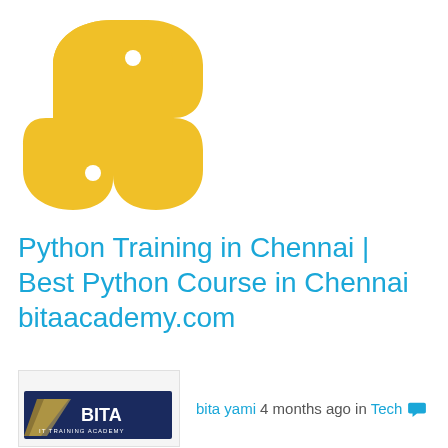[Figure (logo): Python programming language logo — golden/yellow snake S-shape on white background]
Python Training in Chennai | Best Python Course in Chennai
bitaacademy.com
[Figure (logo): BITA IT Training Academy logo — navy blue background with diagonal gold stripes and white text reading BITA IT TRAINING ACADEMY]
bita yami 4 months ago in Tech